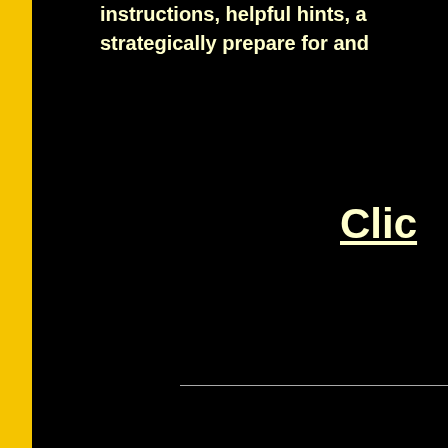instructions, helpful hints, a strategically prepare for and
Clic
Teens
Shop for your favorite products!
Teens
Shop for your favorite products!
Teens
Shop for your favorite products!
Teens
Shop for your favorite products!